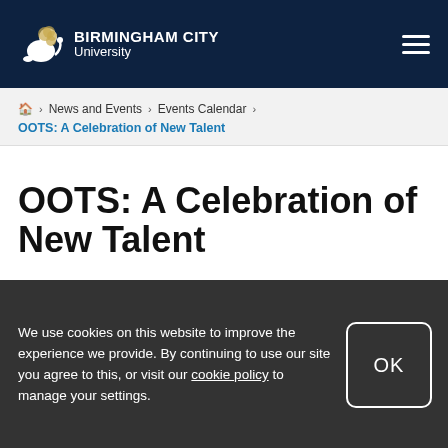BIRMINGHAM CITY University
Home > News and Events > Events Calendar
OOTS: A Celebration of New Talent
OOTS: A Celebration of New Talent
ORCHESTRA OF THE SWAN – ORCHESTRA IN RESIDENCE
We use cookies on this website to improve the experience we provide. By continuing to use our site you agree to this, or visit our cookie policy to manage your settings.